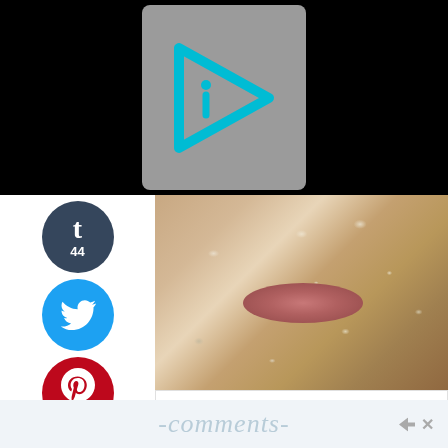[Figure (logo): Gray rounded rectangle with cyan/teal 'i>' play button logo icon]
[Figure (photo): Close-up photo of a person's lower face covered in oatmeal face mask scrub, showing lips and chin area]
44
[Figure (logo): Tumblr share button - dark blue circle with T, count 44]
[Figure (logo): Twitter share button - blue circle with bird icon]
[Figure (logo): Pinterest share button - red circle with P, count 49]
[Figure (logo): Yummly share button - orange circle with 'yum' text]
Plastic Surgeon Says: This Kills Wrinkles, Do It at Home
Sponsored by SouthBeachSkinLab
comments